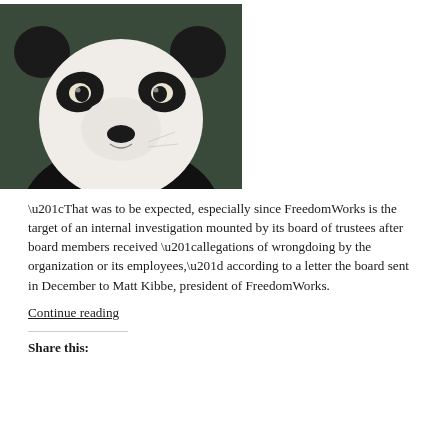[Figure (photo): Close-up photograph of a giant panda bear face, black and white fur, looking directly at camera against dark background]
“That was to be expected, especially since FreedomWorks is the target of an internal investigation mounted by its board of trustees after board members received “allegations of wrongdoing by the organization or its employees,” according to a letter the board sent in December to Matt Kibbe, president of FreedomWorks.
Continue reading
Share this: